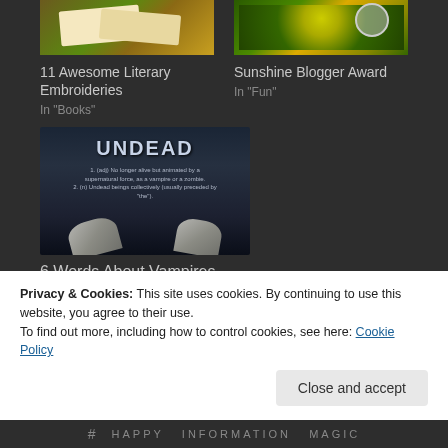[Figure (photo): Cropped top thumbnail of literary embroideries book image]
[Figure (photo): Cropped top thumbnail of sunflowers with Sunshine Blogger Award badge]
11 Awesome Literary Embroideries
In "Books"
Sunshine Blogger Award
In "Fun"
[Figure (photo): Dark moody image with UNDEAD text at top, definition text, and zombie hands reaching up from ground]
6 Words About Vampires
In "Books"
Privacy & Cookies: This site uses cookies. By continuing to use this website, you agree to their use.
To find out more, including how to control cookies, see here: Cookie Policy
# HAPPY INFORMATION MAGIC